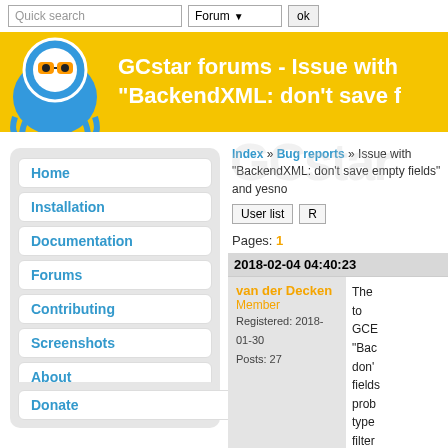Quick search | Forum | ok
GCstar forums - Issue with "BackendXML: don't save fields"
Home
Installation
Documentation
Forums
Contributing
Screenshots
About
Donate
Index » Bug reports » Issue with "BackendXML: don't save empty fields" and yesno
User list | R
Pages: 1
2018-02-04 04:40:23
van der Decken
Member
Registered: 2018-01-30
Posts: 27
The to GCE "Bac don' fields prob type filter